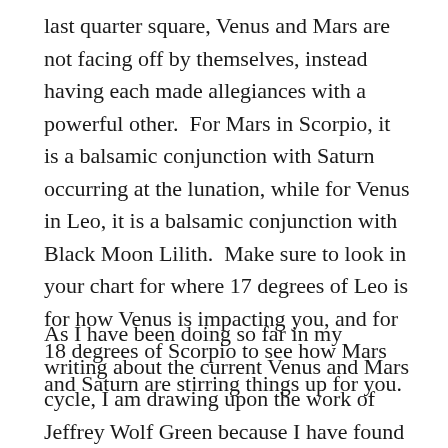last quarter square, Venus and Mars are not facing off by themselves, instead having each made allegiances with a powerful other.  For Mars in Scorpio, it is a balsamic conjunction with Saturn occurring at the lunation, while for Venus in Leo, it is a balsamic conjunction with Black Moon Lilith.  Make sure to look in your chart for where 17 degrees of Leo is for how Venus is impacting you, and for 18 degrees of Scorpio to see how Mars and Saturn are stirring things up for you.
As I have been doing so far in my writing about the current Venus and Mars cycle, I am drawing upon the work of Jeffrey Wolf Green because I have found his method of exploring